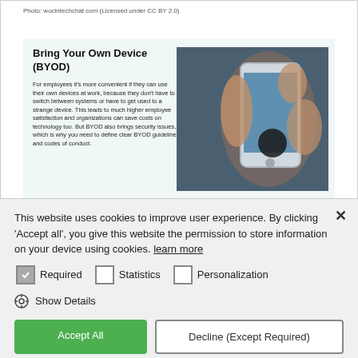Photo: wocintechchat.com (Licensed under CC BY 2.0)
Bring Your Own Device (BYOD)
For employees it's more convenient if they can use their own devices at work, because they don't have to switch between systems or have to get used to a strange device. This leads to much higher employee satisfaction and organizations can save costs on technology too. But BYOD also brings security issues, which is why you need to define clear BYOD guidelines and codes of conduct.
[Figure (photo): Person holding a smartphone, viewed from above against a dark background]
This website uses cookies to improve user experience. By clicking 'Accept all', you give this website the permission to store information on your device using cookies. learn more
Required   Statistics   Personalization
Show Details
Accept All   Decline (Except Required)